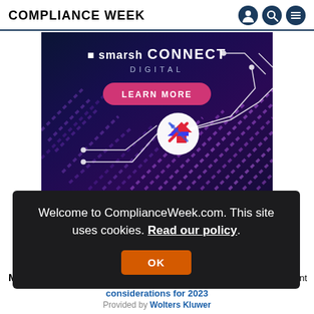COMPLIANCE WEEK
[Figure (infographic): Smarsh Connect Digital advertisement banner with dark purple/navy background, diagonal colorful lines, LEARN MORE pink button, and circular arrow icon]
Welcome to ComplianceWeek.com. This site uses cookies. Read our policy.
OK
M
nt
considerations for 2023
Provided by Wolters Kluwer